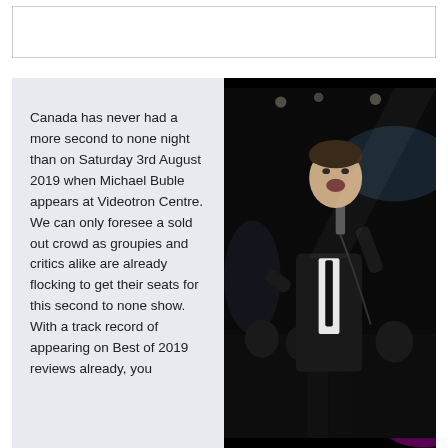[Figure (other): Top banner/advertisement area - empty white rectangle with border]
Canada has never had a more second to none night than on Saturday 3rd August 2019 when Michael Buble appears at Videotron Centre. We can only foresee a sold out crowd as groupies and critics alike are already flocking to get their seats for this second to none show. With a track record of appearing on Best of 2019 reviews already, you
[Figure (photo): Photo of Michael Buble performing on stage, wearing a dark suit, singing into a microphone, with stage lighting in the background including pink/purple lights]